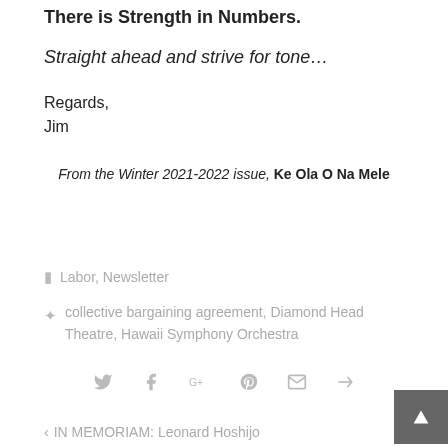There is Strength in Numbers.
Straight ahead and strive for tone…
Regards,
Jim
From the Winter 2021-2022 issue, Ke Ola O Na Mele
Labor, Newsletter
collective bargaining agreement, Diamond Head Theatre, Hawaii Symphony Orchestra
< IN MEMORIAM: Leonard Hoshijo